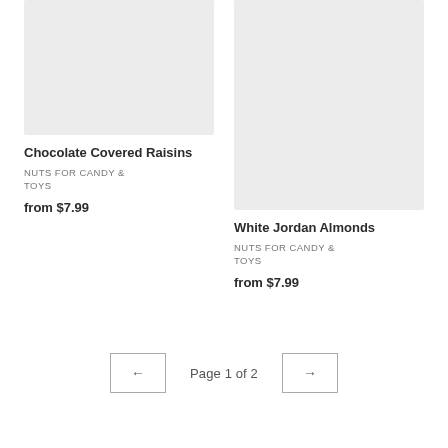[Figure (photo): Product image placeholder for Chocolate Covered Raisins (light gray rectangle)]
Chocolate Covered Raisins
NUTS FOR CANDY & TOYS
from $7.99
[Figure (photo): Product image placeholder for White Jordan Almonds (light gray rectangle)]
White Jordan Almonds
NUTS FOR CANDY & TOYS
from $7.99
← Page 1 of 2 →